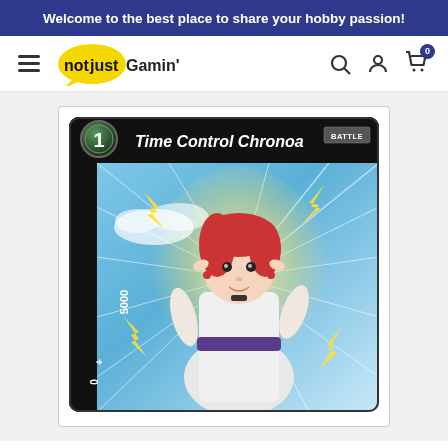Welcome to the best place to share your hobby passion!
[Figure (screenshot): notjustGamin' website navigation bar with hamburger menu, yellow speech bubble logo, search icon, account icon, and cart icon with 0 badge]
[Figure (illustration): Dragon Ball Super card game card: Time Control Chronoa, Battle type, cost 1, power 5000+0. Shows anime character Chronoa (female with red hair and elf ears wearing white dress) surrounded by yellow energy lightning effects on blue sky background.]